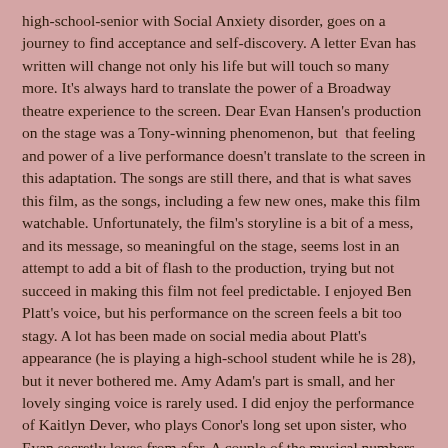high-school-senior with Social Anxiety disorder, goes on a journey to find acceptance and self-discovery. A letter Evan has written will change not only his life but will touch so many more. It's always hard to translate the power of a Broadway theatre experience to the screen. Dear Evan Hansen's production on the stage was a Tony-winning phenomenon, but that feeling and power of a live performance doesn't translate to the screen in this adaptation. The songs are still there, and that is what saves this film, as the songs, including a few new ones, make this film watchable. Unfortunately, the film's storyline is a bit of a mess, and its message, so meaningful on the stage, seems lost in an attempt to add a bit of flash to the production, trying but not succeed in making this film not feel predictable. I enjoyed Ben Platt's voice, but his performance on the screen feels a bit too stagy. A lot has been made on social media about Platt's appearance (he is playing a high-school student while he is 28), but it never bothered me. Amy Adam's part is small, and her lovely singing voice is rarely used. I did enjoy the performance of Kaitlyn Dever, who plays Conor's long set upon sister, who Evan secretly loves from afar. A couple of the musical numbers, where the cast has also to dance, are a bit painful to watch, so maybe just buy the soundtrack or see the musical the next time your local theatre group puts it on.    My